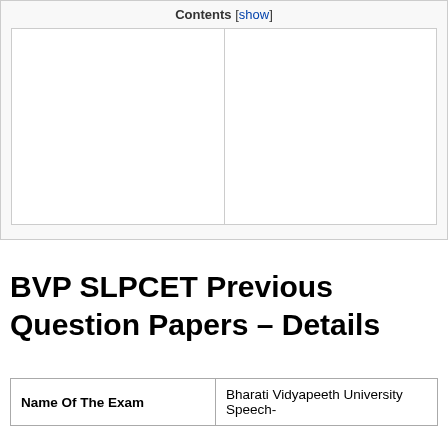Contents [show]
[Figure (other): Two-column empty content box with inner table border]
BVP SLPCET Previous Question Papers – Details
| Name Of The Exam | Bharati Vidyapeeth University Speech- |